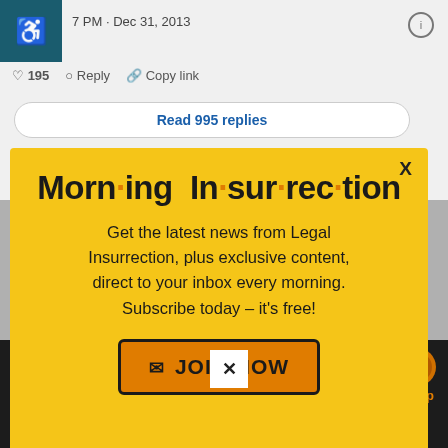[Figure (screenshot): Social media post header with avatar, timestamp Dec 31, 2013, like count 195, Reply, Copy link actions, and Read 995 replies button]
[Figure (infographic): Yellow popup modal for Morning Insurrection newsletter with JOIN NOW button]
Morn·ing In·sur·rec·tion
Get the latest news from Legal Insurrection, plus exclusive content, direct to your inbox every morning. Subscribe today – it's free!
JOIN NOW
[Figure (screenshot): Bottom dark social area with 123 likes, Reply, Copy link, Read 526 replies, Back to top]